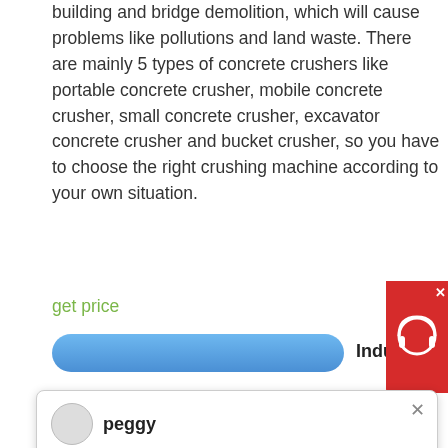building and bridge demolition, which will cause problems like pollutions and land waste. There are mainly 5 types of concrete crushers like portable concrete crusher, mobile concrete crusher, small concrete crusher, excavator concrete crusher and bucket crusher, so you have to choose the right crushing machine according to your own situation.
get price
[Figure (screenshot): Blue rounded button bar and partial 'Industrial Sto' heading text]
[Figure (screenshot): Chat popup with avatar labeled 'peggy', close button (x), and message: Welcome, please choose: 1.English 2.Русский 3.Français 4.Español 5.bahasa Indonesia 6.عربي]
[Figure (photo): Industrial machinery / concrete crusher equipment in outdoor setting]
Saboo Engineers Pvt. Ltd. has been playing strokes of excellence in the domain of heavy industrial machine, construction and cement. Empowered with advanced technology machines and an experienced team of engineers, we have brought high efficiency Kiln Cement Plants, Clinker Grinding Plant, ball mill etc. Adhering to strict quality we design our products as per the national and